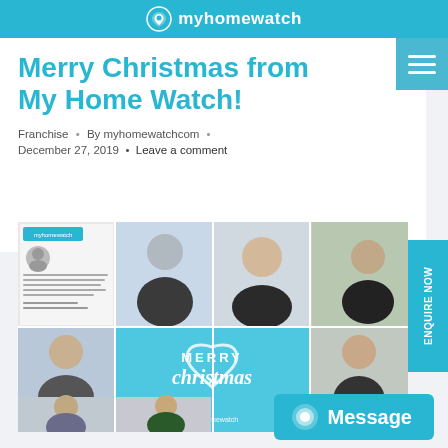myhomewatch
Merry Christmas from My Home Watch!
Franchise • By myhomewatchcom •
December 27, 2019 • Leave a comment
[Figure (photo): Collage of My Home Watch franchise staff photos with a central Merry Christmas card showing heart logo and script text, plus testimonial card with myhomewatch branding]
Message